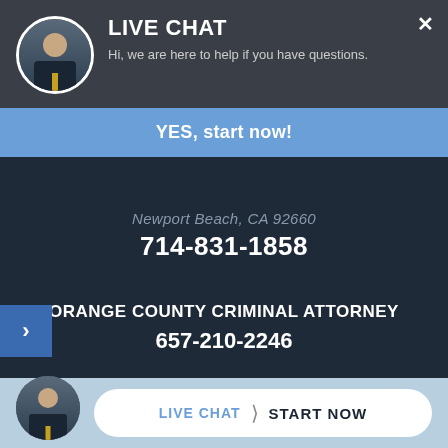LIVE CHAT
Hi, we are here to help if you have questions.
YES, start now!
Newport Beach, CA 92660
714-831-1858
ORANGE COUNTY CRIMINAL ATTORNEY
657-210-2246
HOURS OF OPERATION
Mon-Fri: 24hrs
Saturday: 24hrs
LIVE CHAT  START NOW